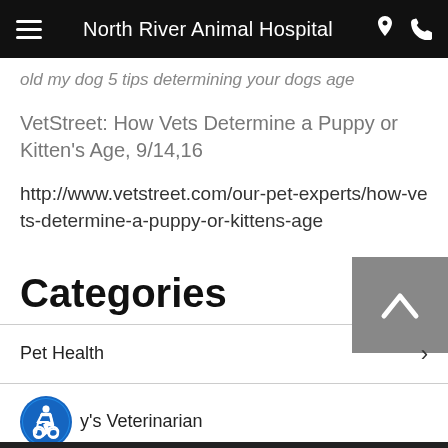North River Animal Hospital
old my dog 5 tips determining your dogs age
VetStreet: How Vets Determine a Puppy or Kitten's Age, 9/14,16
http://www.vetstreet.com/our-pet-experts/how-vets-determine-a-puppy-or-kittens-age
Categories
Pet Health
y's Veterinarian